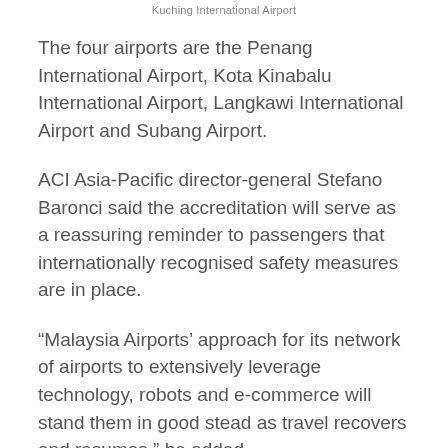Kuching International Airport
The four airports are the Penang International Airport, Kota Kinabalu International Airport, Langkawi International Airport and Subang Airport.
ACI Asia-Pacific director-general Stefano Baronci said the accreditation will serve as a reassuring reminder to passengers that internationally recognised safety measures are in place.
“Malaysia Airports’ approach for its network of airports to extensively leverage technology, robots and e-commerce will stand them in good stead as travel recovers and resumes,” he added.